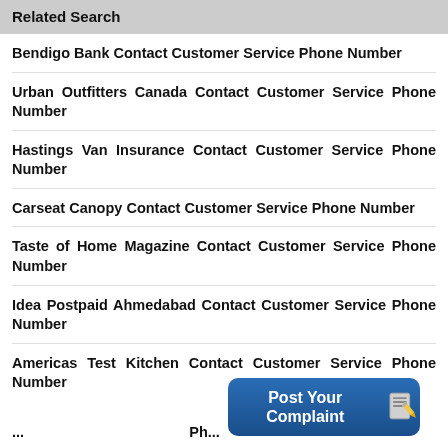Related Search
Bendigo Bank Contact Customer Service Phone Number
Urban Outfitters Canada Contact Customer Service Phone Number
Hastings Van Insurance Contact Customer Service Phone Number
Carseat Canopy Contact Customer Service Phone Number
Taste of Home Magazine Contact Customer Service Phone Number
Idea Postpaid Ahmedabad Contact Customer Service Phone Number
Americas Test Kitchen Contact Customer Service Phone Number
[Figure (other): Post Your Complaint button with pencil/notepad icon, dark blue rounded rectangle]
... Ph...